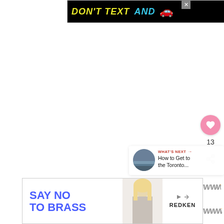[Figure (other): NHTSA advertisement banner: 'DON'T TEXT AND' with car emoji and NHTSA logo on black background]
[Figure (other): Close/X button for top ad in gray square]
[Figure (other): Pink heart/like button (circular), like count '13', and share button (circular) on right sidebar]
13
[Figure (other): WHAT'S NEXT panel with thumbnail image and text 'How to Get to the Toronto...']
[Figure (logo): Wattpad logo (small, stylized W letters with orange superscript dot)]
[Figure (other): Redken advertisement: 'SAY NO TO BRASS' with blonde woman photo and Redken logo]